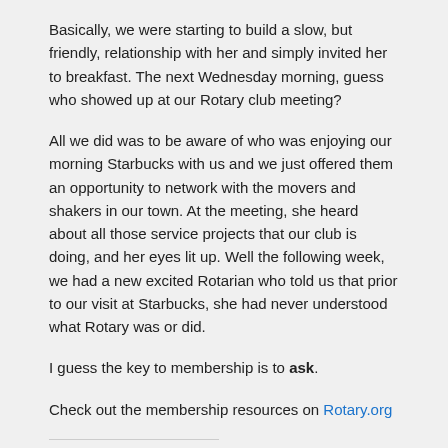Basically, we were starting to build a slow, but friendly, relationship with her and simply invited her to breakfast. The next Wednesday morning, guess who showed up at our Rotary club meeting?
All we did was to be aware of who was enjoying our morning Starbucks with us and we just offered them an opportunity to network with the movers and shakers in our town. At the meeting, she heard about all those service projects that our club is doing, and her eyes lit up. Well the following week, we had a new excited Rotarian who told us that prior to our visit at Starbucks, she had never understood what Rotary was or did.
I guess the key to membership is to ask.
Check out the membership resources on Rotary.org